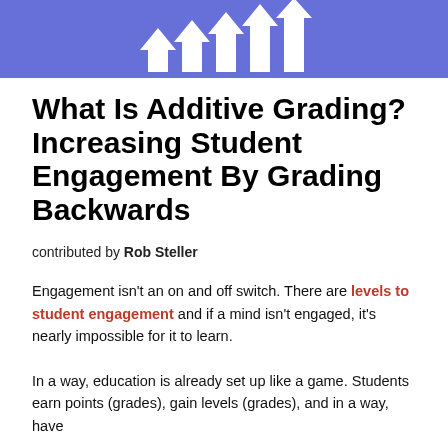[Figure (illustration): Blue banner with white upward-pointing arrows of increasing height, arranged like a bar chart growing left to right.]
What Is Additive Grading? Increasing Student Engagement By Grading Backwards
contributed by Rob Steller
Engagement isn't an on and off switch. There are levels to student engagement and if a mind isn't engaged, it's nearly impossible for it to learn.
In a way, education is already set up like a game. Students earn points (grades), gain levels (grades), and in a way, have